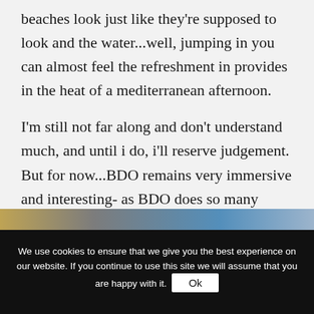beaches look just like they're supposed to look and the water...well, jumping in you can almost feel the refreshment in provides in the heat of a mediterranean afternoon.
I'm still not far along and don't understand much, and until i do, i'll reserve judgement. But for now...BDO remains very immersive and interesting- as BDO does so many things different than other MMOs, it's a joy to feel lost and explore (land and mechanics) again.
[Figure (photo): Partial image strip visible at bottom of content area, showing beach/water scene]
We use cookies to ensure that we give you the best experience on our website. If you continue to use this site we will assume that you are happy with it. Ok